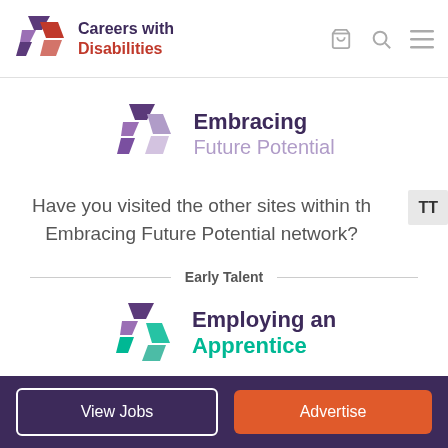[Figure (logo): Careers with Disabilities logo: angular geometric shapes in dark purple and red, with text 'Careers with Disabilities' beside it]
[Figure (logo): Embracing Future Potential logo: angular geometric shapes in purple shades, with text 'Embracing Future Potential']
Have you visited the other sites within the Embracing Future Potential network?
Early Talent
[Figure (logo): Employing an Apprentice logo: angular geometric shapes in purple and teal/green, with text 'Employing an Apprentice']
View Jobs  Advertise